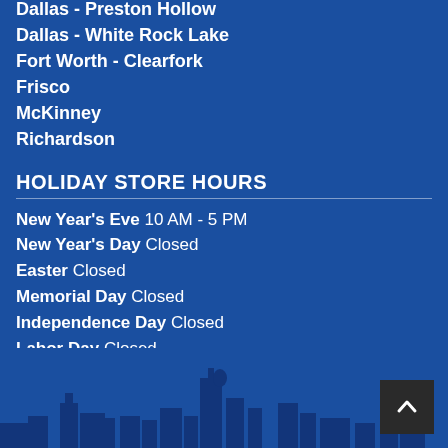Dallas - White Rock Lake
Fort Worth - Clearfork
Frisco
McKinney
Richardson
HOLIDAY STORE HOURS
New Year's Eve 10 AM - 5 PM
New Year's Day Closed
Easter Closed
Memorial Day Closed
Independence Day Closed
Labor Day Closed
Thanksgiving Day Closed
Christmas Eve 10 AM - 5 PM
Christmas Day Closed